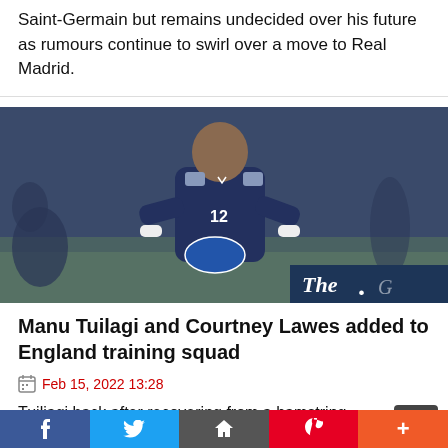Saint-Germain but remains undecided over his future as rumours continue to swirl over a move to Real Madrid.
[Figure (photo): Rugby player wearing navy blue jersey with number 12, catching or carrying a ball during training. The Guardian logo is visible in the bottom right corner.]
Manu Tuilagi and Courtney Lawes added to England training squad
Feb 15, 2022 13:28
Tuiliagi back after recovering from a hamstring problemEngland to face Wales at Twickenham next SaturdayManu Tuilagi and Courtney Lawes have been included in Eddie Jones's 25-man England squad for a